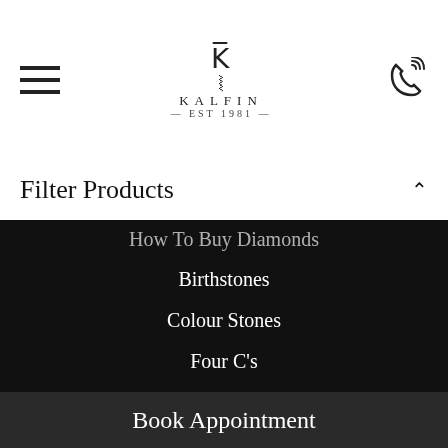[Figure (logo): Kalfin jewellery logo with stylized K symbol, brand name KALFIN in spaced capitals, and EST 1981 subtitle]
Filter Products
How To Buy Diamonds
Birthstones
Colour Stones
Four C's
Jewellery Care
Metals
White Gold Vs. Platinum
Popular Engagement Rings
Gold Engagement Rings
Book Appointment